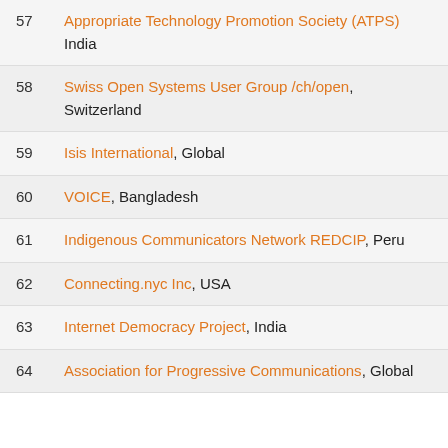57 Appropriate Technology Promotion Society (ATPS), India
58 Swiss Open Systems User Group /ch/open, Switzerland
59 Isis International, Global
60 VOICE, Bangladesh
61 Indigenous Communicators Network REDCIP, Peru
62 Connecting.nyc Inc, USA
63 Internet Democracy Project, India
64 Association for Progressive Communications, Global